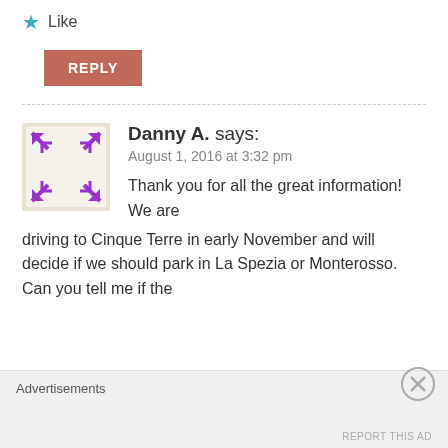[Figure (other): Like button with star icon]
[Figure (other): Reply button (salmon/rose colored)]
[Figure (other): Avatar image with purple geometric cross/expand icon on light background]
Danny A. says:
August 1, 2016 at 3:32 pm
Thank you for all the great information! We are driving to Cinque Terre in early November and will decide if we should park in La Spezia or Monterosso. Can you tell me if the
Advertisements
[Figure (other): Close/dismiss button circle with X]